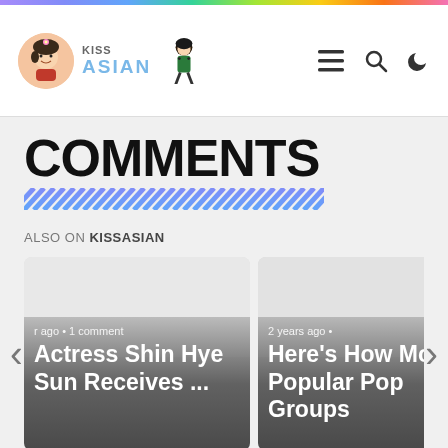KissAsian navigation bar with logo, menu, search, and dark mode icons
COMMENTS
ALSO ON KISSASIAN
[Figure (screenshot): Card 1: Actress Shin Hye Sun Receives ... — ago • 1 comment]
[Figure (screenshot): Card 2: Here's How Most Popular Pop Groups — 2 years ago •]